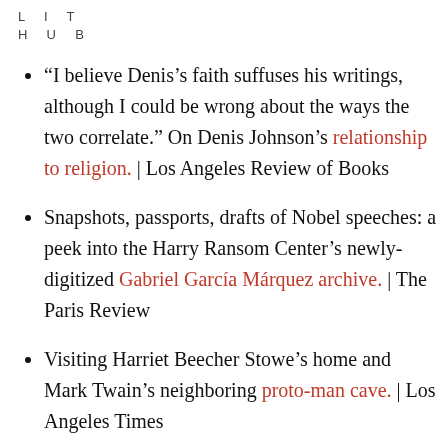LIT
HUB
“I believe Denis’s faith suffuses his writings, although I could be wrong about the ways the two correlate.” On Denis Johnson’s relationship to religion. | Los Angeles Review of Books
Snapshots, passports, drafts of Nobel speeches: a peek into the Harry Ransom Center’s newly-digitized Gabriel García Márquez archive. | The Paris Review
Visiting Harriet Beecher Stowe’s home and Mark Twain’s neighboring proto-man cave. | Los Angeles Times